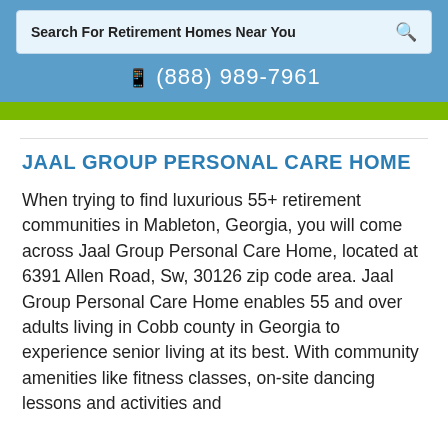[Figure (screenshot): Website header with search bar reading 'Search For Retirement Homes Near You' and a magnifying glass icon on a light blue background]
☎ (888) 989-7961
JAAL GROUP PERSONAL CARE HOME
When trying to find luxurious 55+ retirement communities in Mableton, Georgia, you will come across Jaal Group Personal Care Home, located at 6391 Allen Road, Sw, 30126 zip code area. Jaal Group Personal Care Home enables 55 and over adults living in Cobb county in Georgia to experience senior living at its best. With community amenities like fitness classes, on-site dancing lessons and activities and